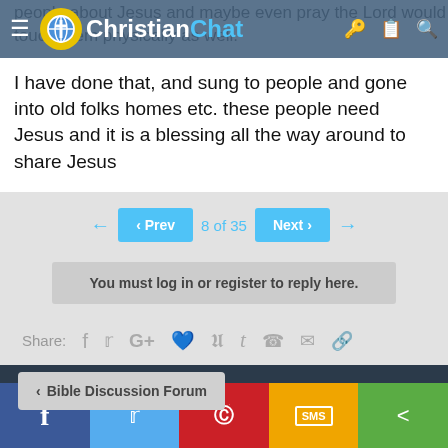ChristianChat navigation bar
people about Jesus and maybe even pray the Lord would touch them physically as well.
I have done that, and sung to people and gone into old folks homes etc. these people need Jesus and it is a blessing all the way around to share Jesus
‹ Prev  8 of 35  Next ›
You must log in or register to reply here.
Share:
‹ Bible Discussion Forum
Facebook Twitter Pinterest SMS Share